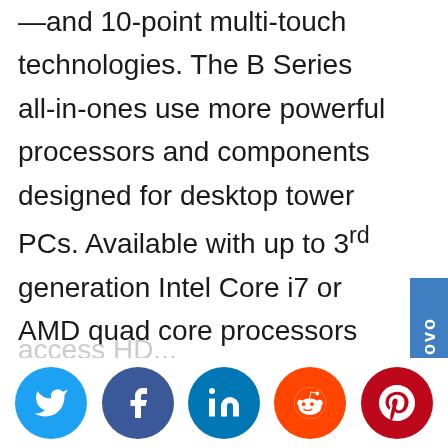—and 10-point multi-touch technologies. The B Series all-in-ones use more powerful processors and components designed for desktop tower PCs. Available with up to 3rd generation Intel Core i7 or AMD quad core processors and cutting-edge NVIDIA® GeForce® or AMD Radeon™ graphics, users can also enjoy a great gaming experience. VESA mount compatibility gives users flexibility on where to situate their all-in-one in the home, while optional TV tuner provides
[Figure (other): Social media share buttons: Twitter, Facebook, LinkedIn, Reddit, Pinterest]